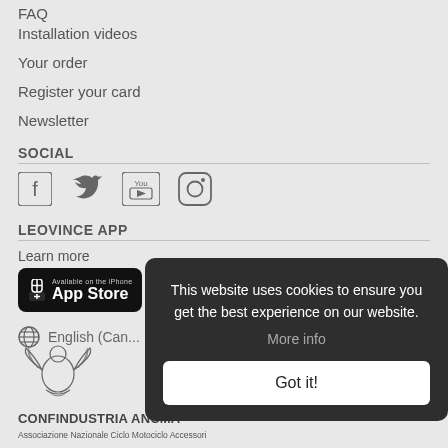FAQ
Installation videos
Your order
Register your card
Newsletter
SOCIAL
[Figure (illustration): Social media icons: Facebook, Twitter, YouTube, Instagram]
LEOVINCE APP
Learn more
[Figure (illustration): App Store and Google Play buttons]
English (Can...
[Figure (logo): Confindustria ANCMA eagle logo]
CONFINDUSTRIA  ANCMA
Associazione Nazionale Ciclo Motociclo Accessori
This website uses cookies to ensure you get the best experience on our website.
More info
Got it!